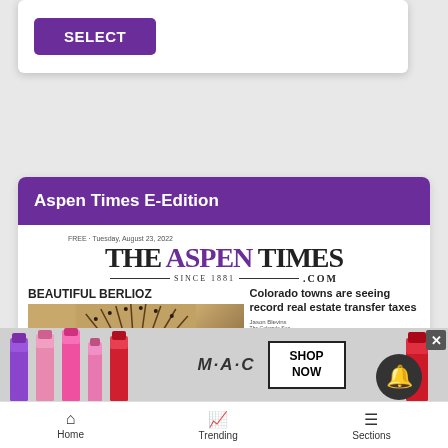[Figure (screenshot): SELECT button — purple rounded rectangle with white bold text reading SELECT]
Aspen Times E-Edition
[Figure (screenshot): Aspen Times newspaper front page preview showing: THE ASPEN TIMES masthead, SINCE 1881, .COM, BEAUTIFUL BERLIOZ headline with fan/wheel image, Colorado towns are seeing record real estate transfer taxes headline with body text]
[Figure (advertisement): M·A·C cosmetics ad with colorful lipsticks on left, M·A·C logo in center, SHOP NOW box, red lipstick on right]
Home   Trending   Sections